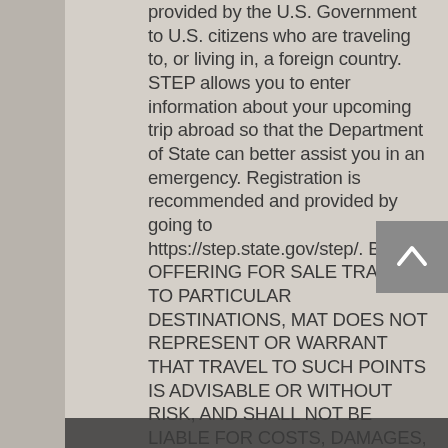provided by the U.S. Government to U.S. citizens who are traveling to, or living in, a foreign country. STEP allows you to enter information about your upcoming trip abroad so that the Department of State can better assist you in an emergency. Registration is recommended and provided by going to https://step.state.gov/step/. BY OFFERING FOR SALE TRAVEL TO PARTICULAR DESTINATIONS, MAT DOES NOT REPRESENT OR WARRANT THAT TRAVEL TO SUCH POINTS IS ADVISABLE OR WITHOUT RISK, AND SHALL NOT BE LIABLE FOR COSTS, DAMAGES, OR LOSSES THAT MAY RESULT FROM TRAVEL TO SUCH DESTINATIONS. CLIENT'S PARTICIPATION CONSTITUTES ACCEPTANCE EVENTS AT